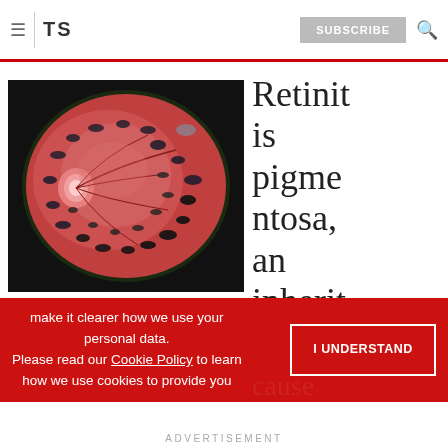≡ | TS   SUBSCRIBE   🔍
[Figure (photo): Retinal fundus photograph showing retinitis pigmentosa: a circular view of the retina with dark pigment deposits (bone-spicule pattern) scattered across the retinal surface, reddish-pink retinal tissue, and visible optic disc on the left side.]
Retinitis pigmentosa, an inherited
make it clearer how we use your personal data. Please read our Cookie Policy to learn how we use cookies to provide you
I UNDERSTAND
ADVERTISEMENT